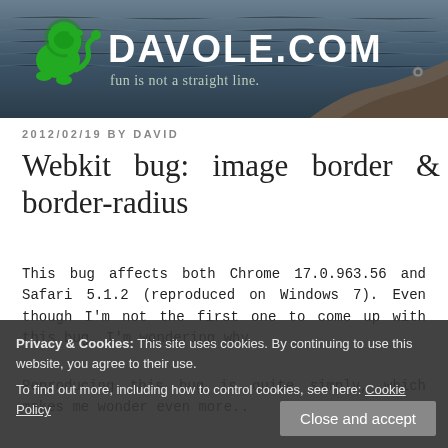[Figure (photo): Website header banner with dark blue-grey ocean/water background, a green heraldic lion logo on the left, large white bold text 'DAVOLE.COM' and tagline 'fun is not a straight line.' A rocky surface is visible at the lower right of the banner.]
DAVOLE.COM
fun is not a straight line.
2012/02/19 BY DAVID
Webkit bug: image border & border-radius
This bug affects both Chrome 17.0.963.56 and Safari 5.1.2 (reproduced on Windows 7). Even though I'm not the first one to come up with this bug, I'm wondering why
Reproducing this bug is quite simply, which makes me wonder even more..
Privacy & Cookies: This site uses cookies. By continuing to use this website, you agree to their use.
To find out more, including how to control cookies, see here: Cookie Policy
Close and accept